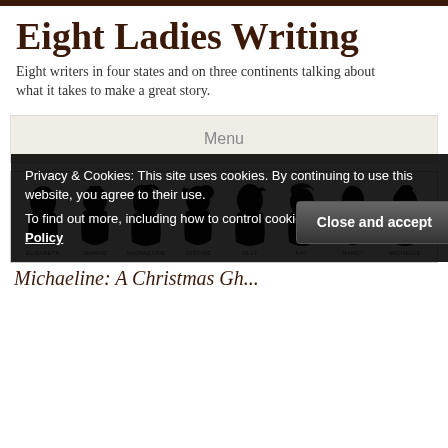Eight Ladies Writing
Eight writers in four states and on three continents talking about what it takes to make a great story.
Menu
[Figure (illustration): Eight female silhouette profile illustrations in a row, each labeled with a name below: Elizabeth, Jeanne, Michaeline, Justine, Jilly, Kay, Nancy, Michelle]
Privacy & Cookies: This site uses cookies. By continuing to use this website, you agree to their use.
To find out more, including how to control cookies, see here: Cookie Policy
Michaeline: A Christmas Gh...